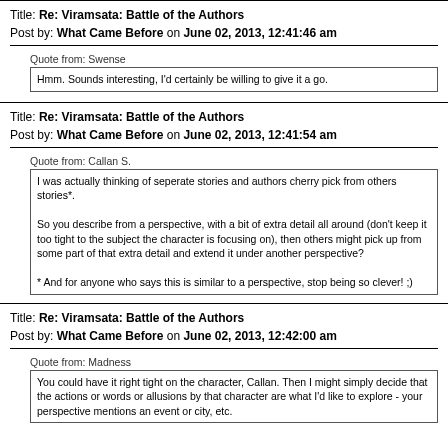Title: Re: Viramsata: Battle of the Authors
Post by: What Came Before on June 02, 2013, 12:41:46 am
Quote from: Swense
Hmm. Sounds interesting, I'd certainly be willing to give it a go.
Title: Re: Viramsata: Battle of the Authors
Post by: What Came Before on June 02, 2013, 12:41:54 am
Quote from: Callan S.
I was actually thinking of seperate stories and authors cherry pick from others stories*.

So you describe from a perspective, with a bit of extra detail all around (don't keep it too tight to the subject the character is focusing on), then others might pick up from some part of that extra detail and extend it under another perspective?

* And for anyone who says this is similar to a perspective, stop being so clever! ;)
Title: Re: Viramsata: Battle of the Authors
Post by: What Came Before on June 02, 2013, 12:42:00 am
Quote from: Madness
You could have it right tight on the character, Callan. Then I might simply decide that the actions or words or allusions by that character are what I'd like to explore - your perspective mentions an event or city, etc.